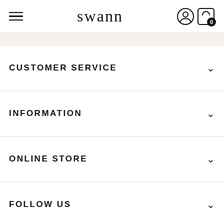swann
CUSTOMER SERVICE
INFORMATION
ONLINE STORE
FOLLOW US